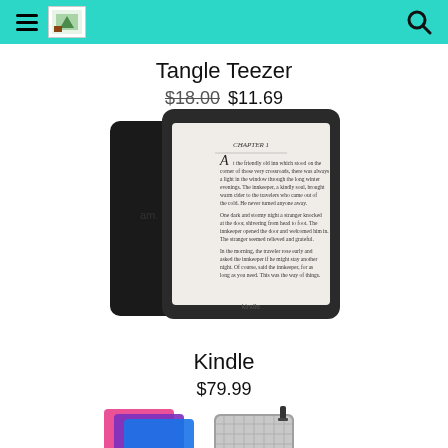Navigation header with hamburger menu, logo, and search icon
Tangle Teezer
$18.00 $11.69
[Figure (photo): Amazon Kindle e-reader device shown from front and back, black color, displaying a book chapter page]
Kindle
$79.99
[Figure (photo): Kindle accessories including colorful tablet covers (pink, purple, blue) and grey fabric sleeves/cases]